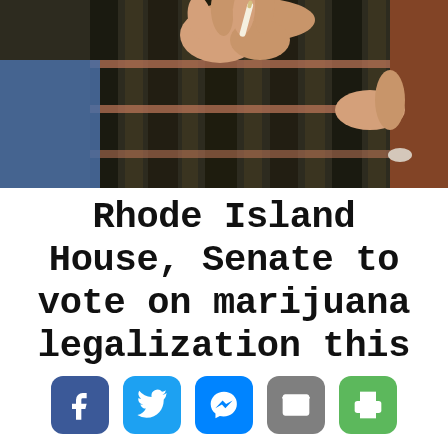[Figure (photo): Close-up of hands holding a marijuana joint or cigarette over dark wooden slat surface, with brick visible in background]
Rhode Island House, Senate to vote on marijuana legalization this
[Figure (infographic): Social sharing buttons: Facebook (blue), Twitter (light blue), Messenger (blue), Email (grey), Print (green)]